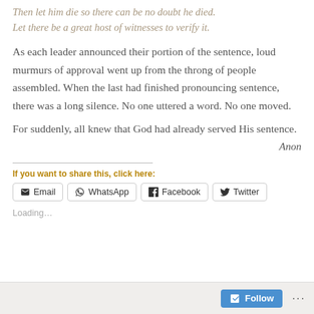Then let him die so there can be no doubt he died.
Let there be a great host of witnesses to verify it.
As each leader announced their portion of the sentence, loud murmurs of approval went up from the throng of people assembled. When the last had finished pronouncing sentence, there was a long silence. No one uttered a word. No one moved.
For suddenly, all knew that God had already served His sentence.
Anon
If you want to share this, click here:
Email  WhatsApp  Facebook  Twitter
Loading...